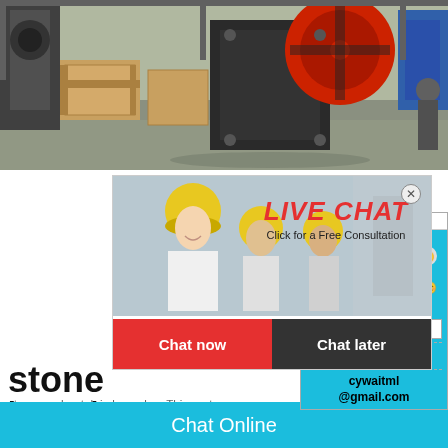[Figure (photo): Industrial factory floor with heavy machinery, jaw crusher equipment, wooden crates, and manufacturing equipment in a large warehouse setting]
[Figure (screenshot): Live chat popup overlay showing construction workers in yellow hard hats with LIVE CHAT text in red, Click for a Free Consultation subtitle, and Chat now / Chat later buttons]
[Figure (infographic): Right side widget showing a satisfaction gauge meter with emoji faces on a cyan/teal background, with Click me to chat >> button, Enquiry section, and cywaitml@gmail.com contact]
stone crusher tph in bangalore - prestaneta
stone crusher tph in bangalore This custo... construction company in Bamako, Mali A... customer's high demand of production ca...
Chat Online